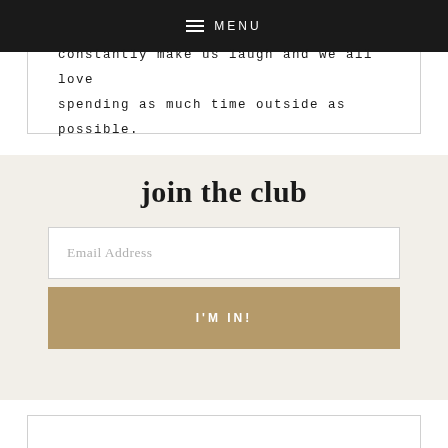MENU
constantly make us laugh and we all love spending as much time outside as possible.
join the club
Email Address
I'M IN!
RECENT POSTS